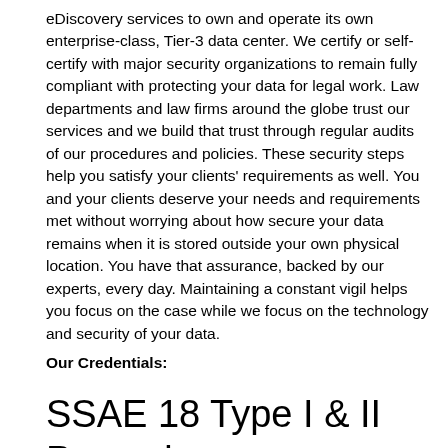eDiscovery services to own and operate its own enterprise-class, Tier-3 data center. We certify or self-certify with major security organizations to remain fully compliant with protecting your data for legal work. Law departments and law firms around the globe trust our services and we build that trust through regular audits of our procedures and policies. These security steps help you satisfy your clients' requirements as well. You and your clients deserve your needs and requirements met without worrying about how secure your data remains when it is stored outside your own physical location. You have that assurance, backed by our experts, every day. Maintaining a constant vigil helps you focus on the case while we focus on the technology and security of your data.
Our Credentials:
SSAE 18 Type I & II Passed